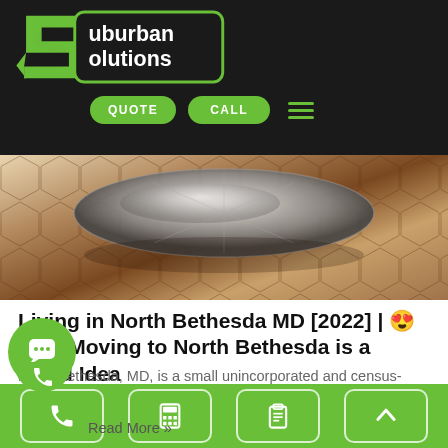Suburban Solutions — navigation header with logo, QUOTE button, CALL button, hamburger menu
[Figure (photo): Hero image showing a reflective decorative object (compass rose or similar ornamental piece) on a patterned surface with warm earthy tones]
Living in North Bethesda MD [2022] | 😍 Why Moving to North Bethesda is a Good Idea
North Bethesda, MD, is a small unincorporated and census-designated area within Montgomery County, and the region as a whole is known for its Neo-Georgian architecture
Read More »
Bottom navigation bar with phone, calculator, clipboard, and up-arrow icons